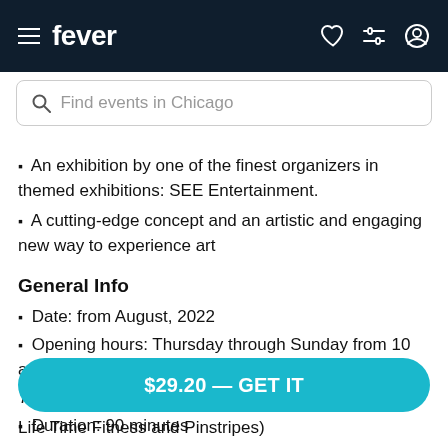fever — Find events in Chicago
▪ An exhibition by one of the finest organizers in themed exhibitions: SEE Entertainment.
▪ A cutting-edge concept and an artistic and engaging new way to experience art
General Info
▪ Date: from August, 2022
▪ Opening hours: Thursday through Sunday from 10 a.m. – 6 p.m.
The exhibition will remain open during Labor Day
▪ Duration: 90 minutes
$29.20 — GET IT
Life Time Fitness and Pinstripes)